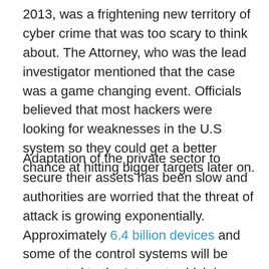2013, was a frightening new territory of cyber crime that was too scary to think about. The Attorney, who was the lead investigator mentioned that the case was a game changing event. Officials believed that most hackers were looking for weaknesses in the U.S system so they could get a better chance at hitting bigger targets later on.
Adaptation of the private sector to secure their assets has been slow and authorities are worried that the threat of attack is growing exponentially. Approximately 6.4 billion devices and some of the control systems will be connected to the Internet, which is a high 30 percent spike from the number that was connected from 2015. A reported high of 21 billion is expected to connect by 2020.